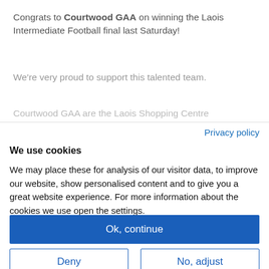Congrats to Courtwood GAA on winning the Laois Intermediate Football final last Saturday!
We're very proud to support this talented team.
Courtwood GAA are the Laois Shopping Centre Intermediate
Privacy policy
We use cookies
We may place these for analysis of our visitor data, to improve our website, show personalised content and to give you a great website experience. For more information about the cookies we use open the settings.
Ok, continue
Deny
No, adjust